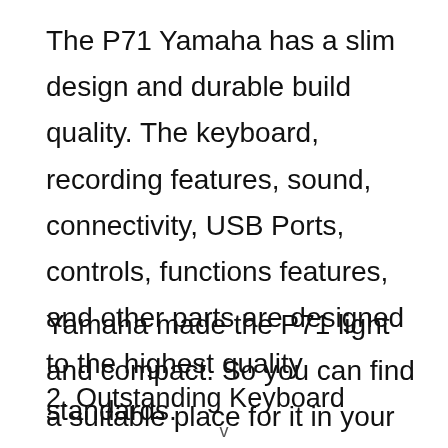The P71 Yamaha has a slim design and durable build quality. The keyboard, recording features, sound, connectivity, USB Ports, controls, functions features, and other parts are designed to the highest quality standards.
Yamaha made the P71 light and compact. So you can find a suitable place for it in your house or studio. Due to its lightness, you can move it easily.
2. Outstanding Keyboard
v